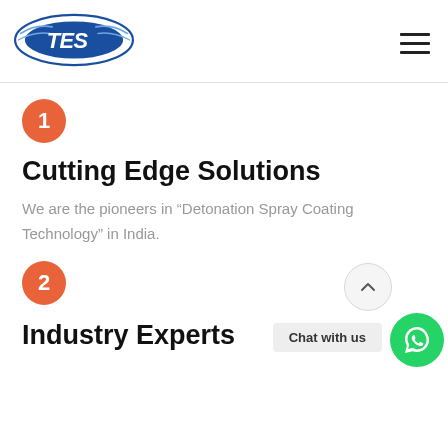[Figure (logo): TES company logo — blue oval with TES lettering and speed lines]
1
Cutting Edge Solutions
We are the pioneers in “Detonation Spray Coating Technology” in India.
2
Industry Experts